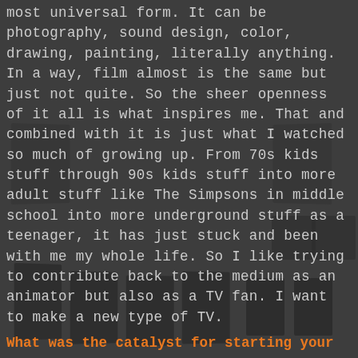most universal form. It can be photography, sound design, color, drawing, painting, literally anything. In a way, film almost is the same but just not quite. So the sheer openness of it all is what inspires me. That and combined with it is just what I watched so much of growing up. From 70s kids stuff through 90s kids stuff into more adult stuff like The Simpsons in middle school into more underground stuff as a teenager, it has just stuck and been with me my whole life. So I like trying to contribute back to the medium as an animator but also as a TV fan. I want to make a new type of TV.
What was the catalyst for starting your